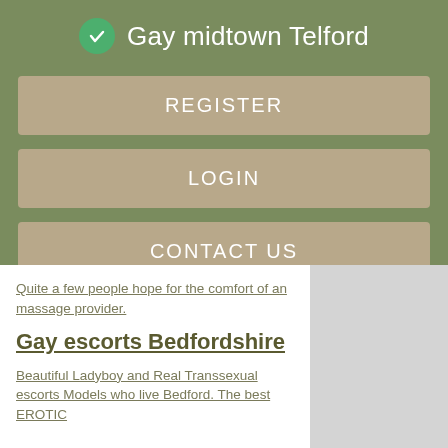Gay midtown Telford
REGISTER
LOGIN
CONTACT US
Quite a few people hope for the comfort of an massage provider.
Gay escorts Bedfordshire
Beautiful Ladyboy and Real Transsexual escorts Models who live Bedford. The best EROTIC